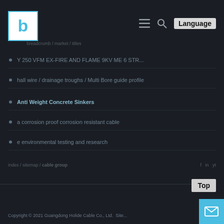b logo | hamburger menu | search | Language
breadcrumb navigation path
menu item 1 - category link
menu item 2 - category link
Anti Weight Concrete Sinkers
menu item 4 - category link
menu item 5 - category link
footer links row
Top | Copyright © 2021 Guangdong Holide Cable Co., Ltd. Site...